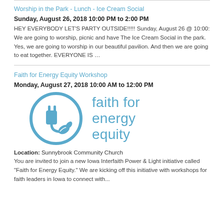Worship in the Park - Lunch - Ice Cream Social
Sunday, August 26, 2018 10:00 PM to 2:00 PM
HEY EVERYBODY LET'S PARTY OUTSIDE!!!!! Sunday, August 26 @ 10:00: We are going to worship, picnic and have The Ice Cream Social in the park. Yes, we are going to worship in our beautiful pavilion. And then we are going to eat together. EVERYONE IS …
Faith for Energy Equity Workshop
Monday, August 27, 2018 10:00 AM to 12:00 PM
[Figure (logo): Faith for Energy Equity logo: a blue circle containing an electric plug icon with a leaf, beside the text 'faith for energy equity' in light blue.]
Location: Sunnybrook Community Church
You are invited to join a new Iowa Interfaith Power & Light initiative called "Faith for Energy Equity." We are kicking off this initiative with workshops for faith leaders in Iowa to connect with...